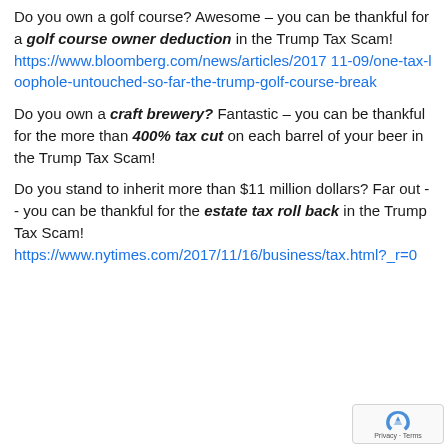Do you own a golf course? Awesome – you can be thankful for a golf course owner deduction in the Trump Tax Scam! https://www.bloomberg.com/news/articles/2017 11-09/one-tax-loophole-untouched-so-far-the-trump-golf-course-break
Do you own a craft brewery? Fantastic – you can be thankful for the more than 400% tax cut on each barrel of your beer in the Trump Tax Scam!
Do you stand to inherit more than $11 million dollars? Far out -- you can be thankful for the estate tax roll back in the Trump Tax Scam! https://www.nytimes.com/2017/11/16/business/tax.html?_r=0